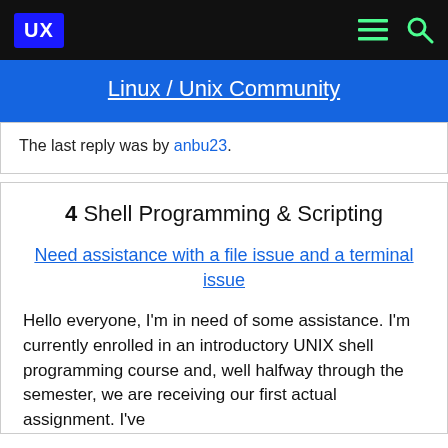UX | Linux / Unix Community
Linux / Unix Community
The last reply was by anbu23.
4  Shell Programming & Scripting
Need assistance with a file issue and a terminal issue
Hello everyone, I'm in need of some assistance. I'm currently enrolled in an introductory UNIX shell programming course and, well halfway through the semester, we are receiving our first actual assignment. I've